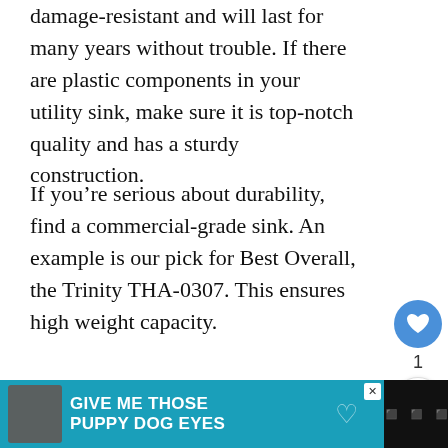damage-resistant and will last for many years without trouble. If there are plastic components in your utility sink, make sure it is top-notch quality and has a sturdy construction.
If you’re serious about durability, find a commercial-grade sink. An example is our pick for Best Overall, the Trinity THA-0307. This ensures high weight capacity.
Faucet Type
Think about the ways you may use yo sink when considering the faucet type. For
[Figure (screenshot): Social sharing UI: heart/like button (blue circle) with count '1' and share button below it]
[Figure (screenshot): What's Next panel: header 'WHAT'S NEXT' with arrow, thumbnail image, text 'Garage Humidity is...']
[Figure (screenshot): Advertisement banner: dog image, text 'GIVE ME THOSE PUPPY DOG EYES' on teal background with close button]